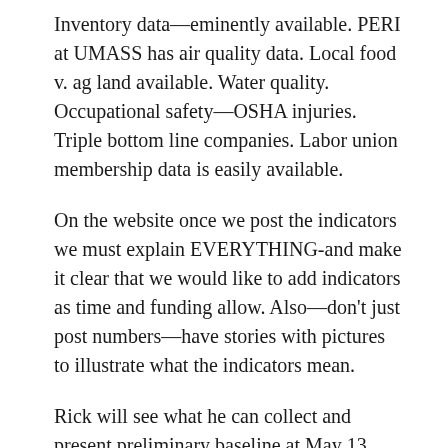Inventory data—eminently available. PERI at UMASS has air quality data. Local food v. ag land available. Water quality. Occupational safety—OSHA injuries. Triple bottom line companies. Labor union membership data is easily available.
On the website once we post the indicators we must explain EVERYTHING-and make it clear that we would like to add indicators as time and funding allow. Also—don't just post numbers—have stories with pictures to illustrate what the indicators mean.
Rick will see what he can collect and present preliminary baseline at May 13 meeting